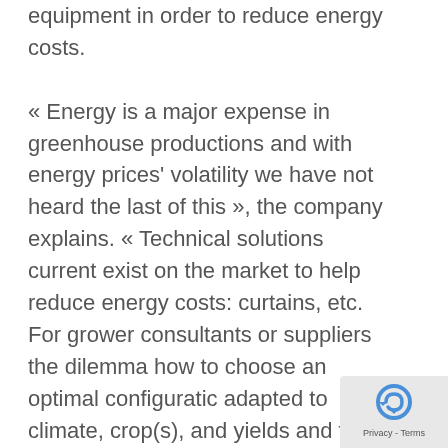equipment in order to reduce energy costs. « Energy is a major expense in greenhouse productions and with energy prices' volatility we have not heard the last of this », the company explains. « Technical solutions current exist on the market to help reduce energy costs: curtains, etc. For grower consultants or suppliers the dilemma how to choose an optimal configuratic adapted to climate, crop(s), and yields and to determine the investment payback. » Hortinergy is the first online software